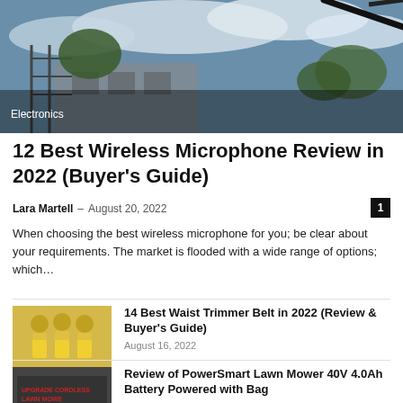[Figure (photo): Hero image: outdoor scene with scaffolding, trees, building facade, and cloudy sky. Microphone equipment visible at top right.]
Electronics
12 Best Wireless Microphone Review in 2022 (Buyer's Guide)
Lara Martell – August 20, 2022
When choosing the best wireless microphone for you; be clear about your requirements. The market is flooded with a wide range of options; which…
[Figure (photo): Thumbnail image of three women wearing yellow workout clothes and waist trimmer belts.]
14 Best Waist Trimmer Belt in 2022 (Review & Buyer's Guide)
August 16, 2022
[Figure (photo): Thumbnail image of PowerSmart Lawn Mower product box.]
Review of PowerSmart Lawn Mower 40V 4.0Ah Battery Powered with Bag